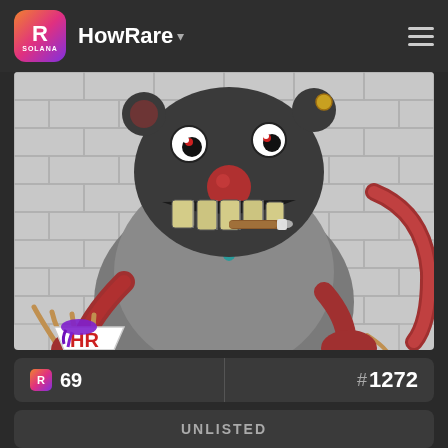HowRare
[Figure (illustration): Cartoon illustration of a dark rat character with large grinning teeth, holding a cup labeled 'HR' with purple paint dripping, smoking a cigar, wearing a grey shirt with a teal pendant, with a red tail visible against a grey brick wall background.]
R 69
#1272
UNLISTED